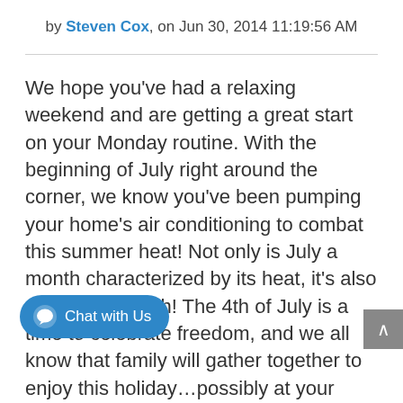by Steven Cox, on Jun 30, 2014 11:19:56 AM
We hope you've had a relaxing weekend and are getting a great start on your Monday routine. With the beginning of July right around the corner, we know you've been pumping your home's air conditioning to combat this summer heat! Not only is July a month characterized by its heat, it's also a patriotic month! The 4th of July is a time to celebrate freedom, and we all know that family will gather together to enjoy this holiday…possibly at your home. If this is the case, you'll want to be sure your A/C is If you anticipate a house full of guests on the 4th, or for seasonal bar-b-q's in